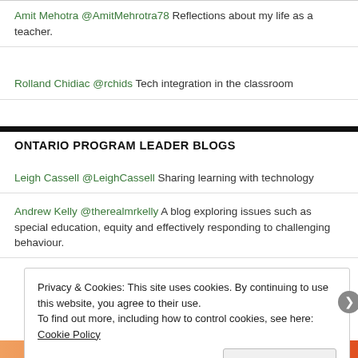Amit Mehotra @AmitMehrotra78 Reflections about my life as a teacher.
Rolland Chidiac @rchids Tech integration in the classroom
ONTARIO PROGRAM LEADER BLOGS
Leigh Cassell @LeighCassell Sharing learning with technology
Andrew Kelly @therealmrkelly A blog exploring issues such as special education, equity and effectively responding to challenging behaviour.
Privacy & Cookies: This site uses cookies. By continuing to use this website, you agree to their use. To find out more, including how to control cookies, see here: Cookie Policy
Close and accept